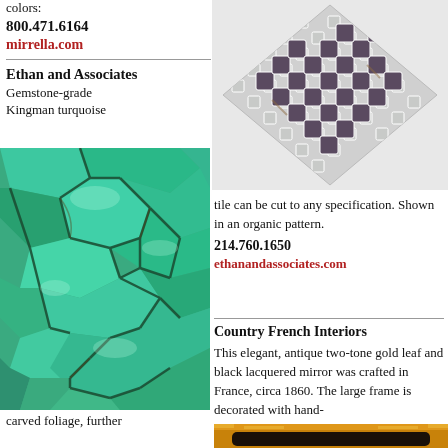colors:
800.471.6164
mirrella.com
Ethan and Associates
Gemstone-grade
Kingman turquoise
[Figure (photo): Mosaic tile pattern with alternating small white/silver and larger dark stone squares in a diamond-shaped arrangement]
[Figure (photo): Close-up of turquoise Kingman gemstone tile showing bright blue-green cracked stone texture]
tile can be cut to any specification. Shown in an organic pattern.
214.760.1650
ethanandassociates.com
Country French Interiors
This elegant, antique two-tone gold leaf and black lacquered mirror was crafted in France, circa 1860. The large frame is decorated with hand-
carved foliage, further
[Figure (photo): Partial view of an ornate antique gold and black lacquered mirror frame, circa 1860]